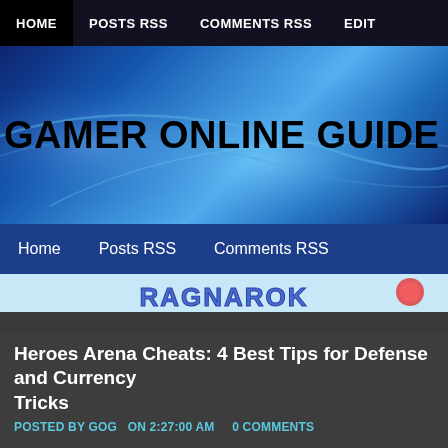HOME | POSTS RSS | COMMENTS RSS | EDIT
GAMER ONLINE GUIDE
Home   Posts RSS   Comments RSS
[Figure (illustration): Ragnarok game banner with logo and character]
Heroes Arena Cheats: 4 Best Tips for Defense and Currency Tricks
POSTED BY GOG   ON 2:27:00 AM   0 COMMENTS
Heroes Arena 5v5 by uCool for Android/iOS (iPhone/iPad).
Heroes Arena Tip #:1 Pillage.
A currency only acquirable from pillage.
You can purchase various items in the fame shop.
1. In Pillage, you can collect the currency produced in the Vault.
2. You can invade other players Defense Tower and pillage their va